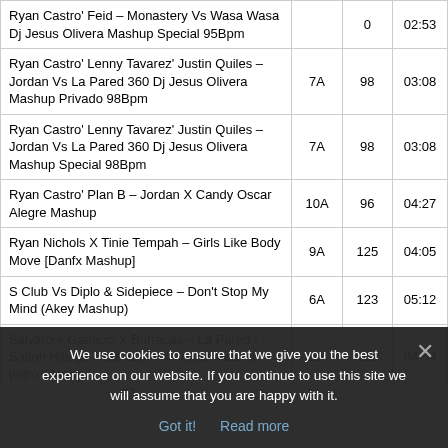| Title | Key | BPM | Duration |
| --- | --- | --- | --- |
| Ryan Castro' Feid – Monastery Vs Wasa Wasa Dj Jesus Olivera Mashup Special 95Bpm |  | 0 | 02:53 |
| Ryan Castro' Lenny Tavarez' Justin Quiles – Jordan Vs La Pared 360 Dj Jesus Olivera Mashup Privado 98Bpm | 7A | 98 | 03:08 |
| Ryan Castro' Lenny Tavarez' Justin Quiles – Jordan Vs La Pared 360 Dj Jesus Olivera Mashup Special 98Bpm | 7A | 98 | 03:08 |
| Ryan Castro' Plan B – Jordan X Candy Oscar Alegre Mashup | 10A | 96 | 04:27 |
| Ryan Nichols X Tinie Tempah – Girls Like Body Move [Danfx Mashup] | 9A | 125 | 04:05 |
| S Club Vs Diplo & Sidepiece – Don't Stop My Mind (Akey Mashup) | 6A | 123 | 05:12 |
We use cookies to ensure that we give you the best experience on our website. If you continue to use this site we will assume that you are happy with it.